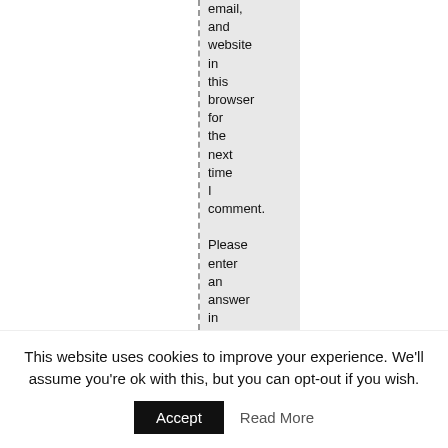email, and website in this browser for the next time I comment. Please enter an answer in digits: 5 – 2 = [input box]
This website uses cookies to improve your experience. We'll assume you're ok with this, but you can opt-out if you wish. Accept Read More